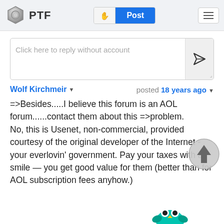PTF | Post
Click here to reply without account
Wolf Kirchmeir  posted 18 years ago
=>Besides.....I believe this forum is an AOL forum......contact them about this =>problem.
No, this is Usenet, non-commercial, provided courtesy of the original developer of the Internet - your everlovin' government. Pay your taxes with a sm[ile —] you get good value for them (better than for AOL [subscription] fees anyhow.)